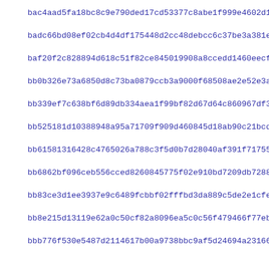bac4aad5fa18bc8c9e790ded17cd53377c8abe1f999e4602d1d6257724c07
badc66bd08ef02cb4d4df175448d2cc48debcc6c37be3a381e3048962334b
baf20f2c828894d618c51f82ce845019908a8ccedd1460eecf74960f56df5
bb0b326e73a6850d8c73ba0879ccb3a9000f68508ae2e52e3a5eb46ac5bd4
bb339ef7c638bf6d89db334aea1f99bf82d67d64c860967df332790034d7a
bb525181d10388948a95a71709f909d460845d18ab90c21bcddf640145ce8
bb61581316428c4765026a788c3f5d0b7d28040af391f717557216edf91d8
bb6862bf096ceb556cced8260845775f02e910bd7209db728871c019fdcd7
bb83ce3d1ee3937e9c6489fcbbf02fffbd3da889c5de2e1cfe3098173ef7f
bb8e215d13119e62a0c50cf82a8096ea5c0c56f479466f77ebaee175e1984
bbb776f530e5487d2114617b00a9738bbc9af5d24694a231660abd481f0e8